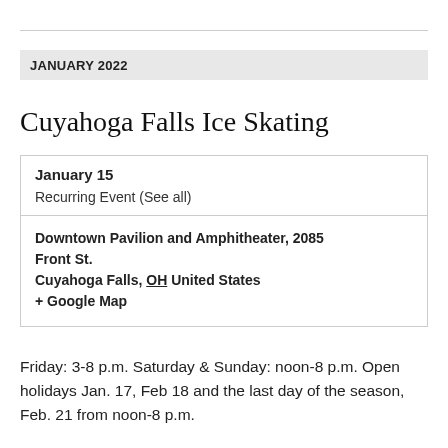JANUARY 2022
Cuyahoga Falls Ice Skating
January 15
Recurring Event (See all)
Downtown Pavilion and Amphitheater, 2085 Front St.
Cuyahoga Falls, OH United States
+ Google Map
Friday: 3-8 p.m. Saturday & Sunday: noon-8 p.m. Open holidays Jan. 17, Feb 18 and the last day of the season, Feb. 21 from noon-8 p.m.